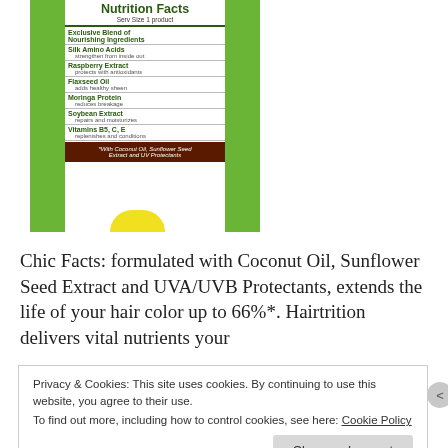[Figure (photo): Product bottle showing a Nutrition Facts panel on a green label. The panel lists: Serv Size 1 product, Exclusive Blend of Nourishing Ingredients, Silk Amino Acids (strengthen from inside out), Raspberry Extract (protects with antioxidants), Flaxseed Oil (adds healthy sheen), Moringa Protein (reduces breakage), Soybean Extract (repairs and moisturizes), Vitamins B5 C E (replenishes and conditions), with a brown footer: *With Coconut Oil, Sunflower Seed Extract and UV Protectants. A yellow half-circle is visible at the bottom.]
Chic Facts: formulated with Coconut Oil, Sunflower Seed Extract and UVA/UVB Protectants, extends the life of your hair color up to 66%*. Hairtrition delivers vital nutrients your
Privacy & Cookies: This site uses cookies. By continuing to use this website, you agree to their use.
To find out more, including how to control cookies, see here: Cookie Policy
Close and accept